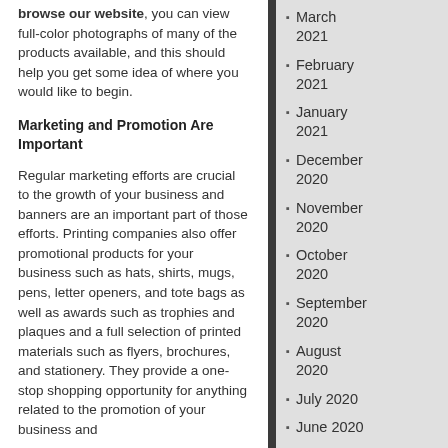browse our website, you can view full-color photographs of many of the products available, and this should help you get some idea of where you would like to begin.
Marketing and Promotion Are Important
Regular marketing efforts are crucial to the growth of your business and banners are an important part of those efforts. Printing companies also offer promotional products for your business such as hats, shirts, mugs, pens, letter openers, and tote bags as well as awards such as trophies and plaques and a full selection of printed materials such as flyers, brochures, and stationery. They provide a one-stop shopping opportunity for anything related to the promotion of your business and
March 2021
February 2021
January 2021
December 2020
November 2020
October 2020
September 2020
August 2020
July 2020
June 2020